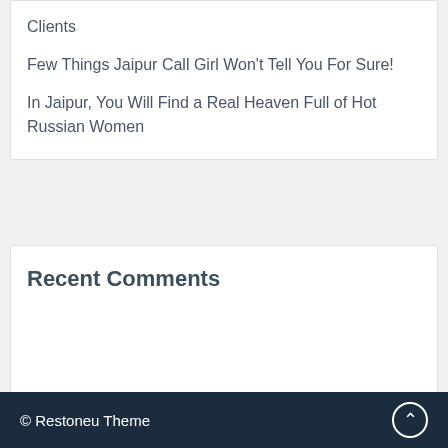Clients
Few Things Jaipur Call Girl Won't Tell You For Sure!
In Jaipur, You Will Find a Real Heaven Full of Hot Russian Women
Recent Comments
© Restoneu Theme